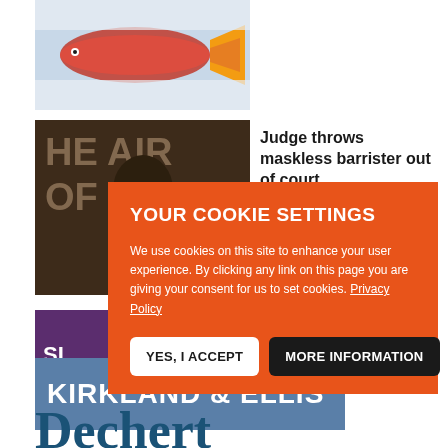[Figure (photo): Photo of a fish (salmon) against a snowy/icy background, with red and yellow tail visible]
[Figure (photo): Photo of a man in a courtroom or legal setting, with text 'THE BAR OF' partially visible in background]
Judge throws maskless barrister out of court
[Figure (logo): Purple banner with white letters 'SI']
[Figure (screenshot): Cookie consent overlay on orange background with title 'YOUR COOKIE SETTINGS', body text about cookies and privacy policy, and two buttons: YES, I ACCEPT and MORE INFORMATION]
[Figure (logo): Kirkland & Ellis logo on steel blue background]
Dechert